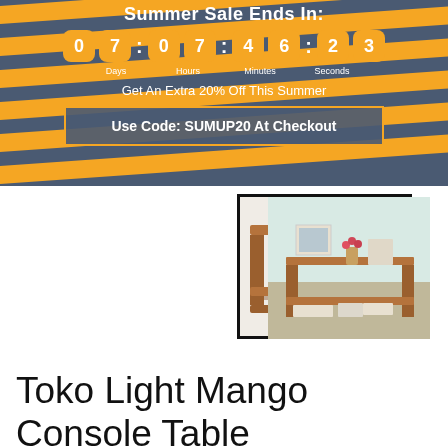Summer Sale Ends In:
07 07 : 46 : 23   Days  Hours  Minutes  Seconds
Get An Extra 20% Off This Summer
Use Code: SUMUP20 At Checkout
[Figure (photo): Selected product image of Toko Light Mango Console Table with black border, showing a simple wooden two-tier console table from front angle]
[Figure (photo): Alternate product image of Toko Light Mango Console Table styled in a room with tulips and accessories on top shelf]
Toko Light Mango Console Table